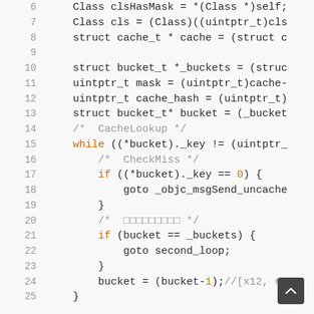[Figure (screenshot): Code snippet showing lines 6-25 of C/Objective-C source code with syntax highlighting. Line numbers on the left in gray, keywords 'while' and 'if' in orange, comments in gray, numeric literal '0' and '-1' in orange/tan.]